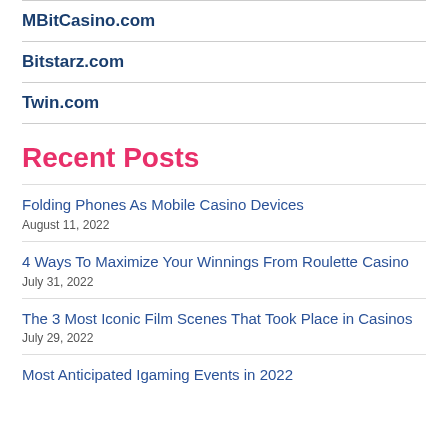MBitCasino.com
Bitstarz.com
Twin.com
Recent Posts
Folding Phones As Mobile Casino Devices
August 11, 2022
4 Ways To Maximize Your Winnings From Roulette Casino
July 31, 2022
The 3 Most Iconic Film Scenes That Took Place in Casinos
July 29, 2022
Most Anticipated Igaming Events in 2022